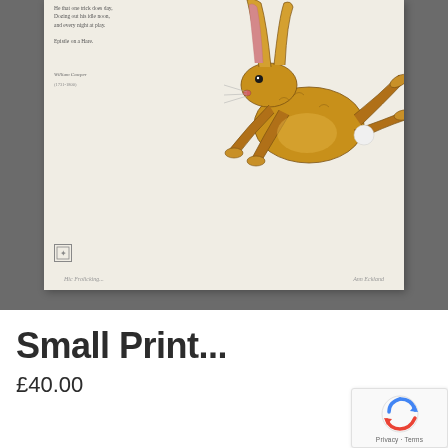[Figure (illustration): A framed artwork print on a grey background showing a running/leaping brown hare illustrated in detailed pen and colour style, with a poem text on the left side of the frame. The poem reads partial lines including 'Dozing out his idle noon, and every night at play.' attributed to William Cowper. Below the illustration, italic text reads 'Hic Frolicking...' on the left and 'Ann Eckland' (signature) on the right.]
Small Print...
£40.00